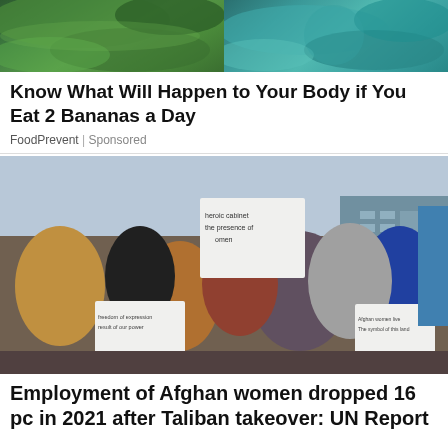[Figure (photo): Top image showing green banana leaves and teal/blue-green plant foliage, split into two panels]
Know What Will Happen to Your Body if You Eat 2 Bananas a Day
FoodPrevent | Sponsored
[Figure (photo): Afghan women protesting, holding signs with text including 'heroic cabinet', 'the presence of women', 'Afghan women live The symbol of this land', 'freedom of expression result of our power']
Employment of Afghan women dropped 16 pc in 2021 after Taliban takeover: UN Report